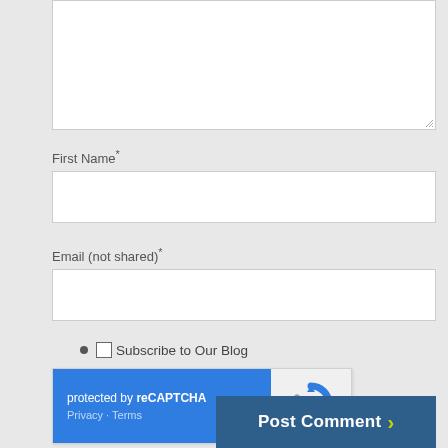[Figure (screenshot): A comment form textarea (top portion visible, mostly empty white box with resize handle in bottom-right corner)]
First Name*
[Figure (screenshot): Empty text input field for First Name]
Email (not shared)*
[Figure (screenshot): Empty text input field for Email]
Subscribe to Our Blog
[Figure (screenshot): reCAPTCHA widget: blue left panel with 'protected by reCAPTCHA' and 'Privacy - Terms' links, right panel with reCAPTCHA logo]
Post Comment >